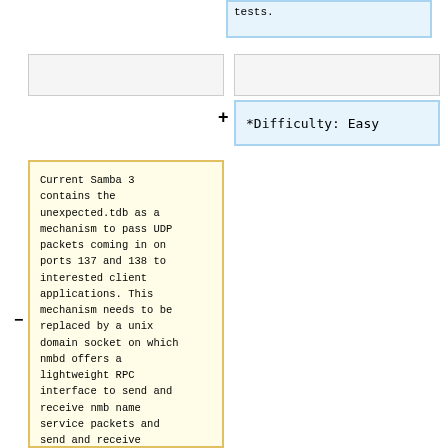tests.
*Difficulty: Easy
Current Samba 3 contains the unexpected.tdb as a mechanism to pass UDP packets coming in on ports 137 and 138 to interested client applications. This mechanism needs to be replaced by a unix domain socket on which nmbd offers a lightweight RPC interface to send and receive nmb name service packets and send and receive